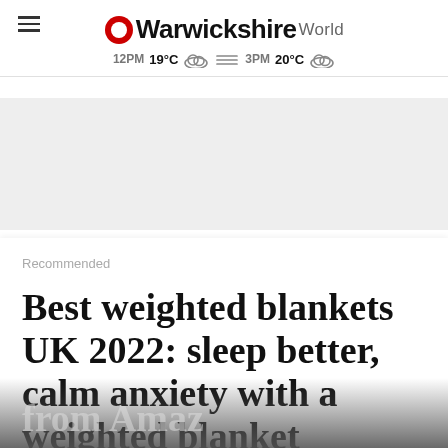Warwickshire World – 12PM 19°C  3PM 20°C
[Figure (other): Grey advertisement banner placeholder]
Recommended
Best weighted blankets UK 2022: sleep better, calm anxiety with a weighted blanket from Amazon, Ar…